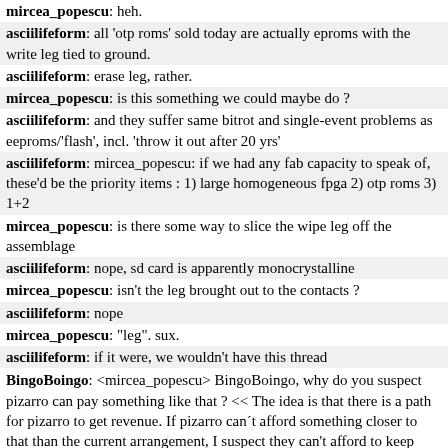mircea_popescu: heh.
asciilifeform: all 'otp roms' sold today are actually eproms with the write leg tied to ground.
asciilifeform: erase leg, rather.
mircea_popescu: is this something we could maybe do ?
asciilifeform: and they suffer same bitrot and single-event problems as eeproms/'flash', incl. 'throw it out after 20 yrs'
asciilifeform: mircea_popescu: if we had any fab capacity to speak of, these'd be the priority items : 1) large homogeneous fpga 2) otp roms 3) 1+2
mircea_popescu: is there some way to slice the wipe leg off the assemblage
asciilifeform: nope, sd card is apparently monocrystalline
mircea_popescu: isn't the leg brought out to the contacts ?
asciilifeform: nope
mircea_popescu: "leg". sux.
asciilifeform: if it were, we wouldn't have this thread
BingoBoingo: <mircea_popescu> BingoBoingo, why do you suspect pizarro can pay something like that ? << The idea is that there is a path for pizarro to get revenue. If pizarro can't afford something closer to that than the current arrangement, I suspect they can't afford to keep someone in Uruguay.
asciilifeform: >> http://bunniefoo.com/bunnie/30c3-controller.png << subj
mircea_popescu: BingoBoingo, obviously people working at